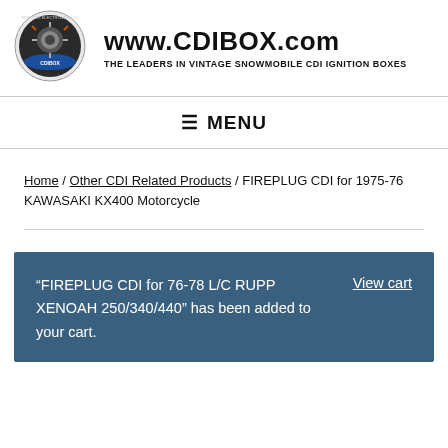[Figure (logo): CDIBOX circular logo with motorcycle engine imagery and blue banner]
www.CDIBOX.com
THE LEADERS IN VINTAGE SNOWMOBILE CDI IGNITION BOXES
≡ MENU
Home / Other CDI Related Products / FIREPLUG CDI for 1975-76 KAWASAKI KX400 Motorcycle
"FIREPLUG CDI for 76-78 L/C RUPP XENOAH 250/340/440" has been added to your cart.   View cart